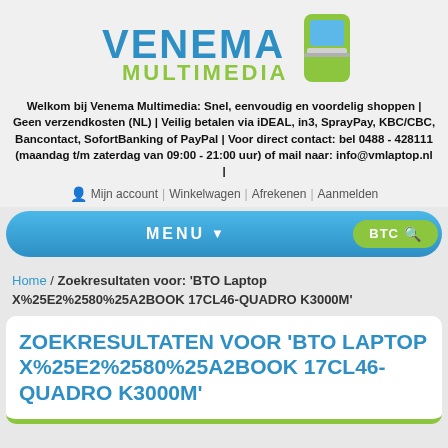[Figure (logo): Venema Multimedia logo with blue VENEMA text, green MULTIMEDIA text, and laptop icon]
Welkom bij Venema Multimedia: Snel, eenvoudig en voordelig shoppen | Geen verzendkosten (NL) | Veilig betalen via iDEAL, in3, SprayPay, KBC/CBC, Bancontact, SofortBanking of PayPal | Voor direct contact: bel 0488 - 428111 (maandag t/m zaterdag van 09:00 - 21:00 uur) of mail naar: info@vmlaptop.nl |
Mijn account | Winkelwagen | Afrekenen | Aanmelden
MENU
BTC
Home / Zoekresultaten voor: 'BTO Laptop X%25E2%2580%25A2BOOK 17CL46-QUADRO K3000M'
ZOEKRESULTATEN VOOR 'BTO LAPTOP X%25E2%2580%25A2BOOK 17CL46-QUADRO K3000M'